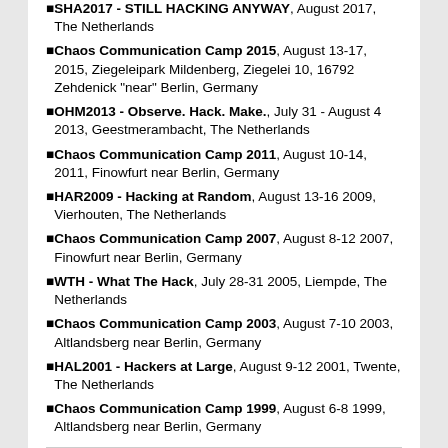SHA2017 - STILL HACKING ANYWAY, August 2017, The Netherlands
Chaos Communication Camp 2015, August 13-17, 2015, Ziegeleipark Mildenberg, Ziegelei 10, 16792 Zehdenick "near" Berlin, Germany
OHM2013 - Observe. Hack. Make., July 31 - August 4 2013, Geestmerambacht, The Netherlands
Chaos Communication Camp 2011, August 10-14, 2011, Finowfurt near Berlin, Germany
HAR2009 - Hacking at Random, August 13-16 2009, Vierhouten, The Netherlands
Chaos Communication Camp 2007, August 8-12 2007, Finowfurt near Berlin, Germany
WTH - What The Hack, July 28-31 2005, Liempde, The Netherlands
Chaos Communication Camp 2003, August 7-10 2003, Altlandsberg near Berlin, Germany
HAL2001 - Hackers at Large, August 9-12 2001, Twente, The Netherlands
Chaos Communication Camp 1999, August 6-8 1999, Altlandsberg near Berlin, Germany
Geraffel Theme
If you like electronic musik, you may want to listen to our official geraffel Theme